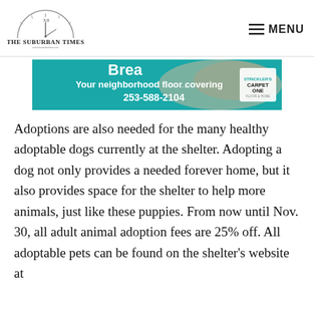THE SUBURBAN TIMES — MENU
[Figure (other): Advertisement banner for a neighborhood floor covering store (Carpet One), showing teal background with text 'Your neighborhood floor covering' and phone number 253-588-2104]
Adoptions are also needed for the many healthy adoptable dogs currently at the shelter. Adopting a dog not only provides a needed forever home, but it also provides space for the shelter to help more animals, just like these puppies. From now until Nov. 30, all adult animal adoption fees are 25% off. All adoptable pets can be found on the shelter's website at